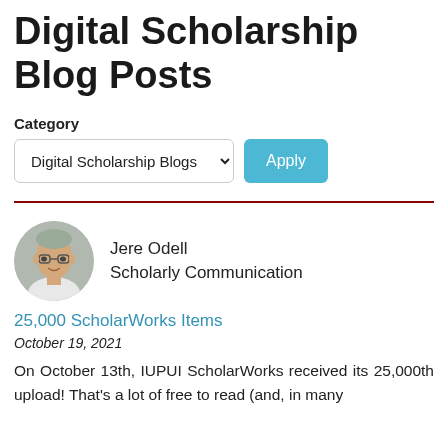Digital Scholarship Blog Posts
Category
Digital Scholarship Blogs  Apply
Jere Odell
Scholarly Communication
25,000 ScholarWorks Items
October 19, 2021
On October 13th, IUPUI ScholarWorks received its 25,000th upload! That's a lot of free to read (and, in many